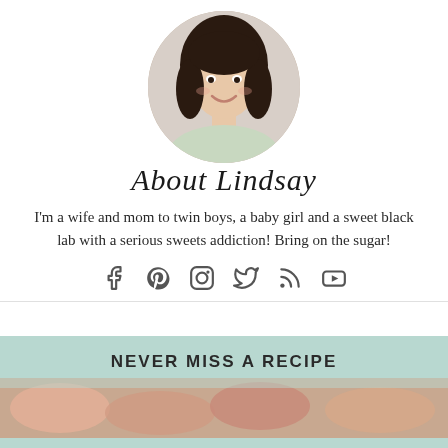[Figure (photo): Circular portrait photo of a young woman with dark hair, smiling, wearing a floral top]
About Lindsay
I'm a wife and mom to twin boys, a baby girl and a sweet black lab with a serious sweets addiction! Bring on the sugar!
[Figure (infographic): Row of social media icons: Facebook, Pinterest, Instagram, Twitter, RSS, YouTube]
NEVER MISS A RECIPE
[Figure (photo): Partial image of food/recipes at the bottom of the page]